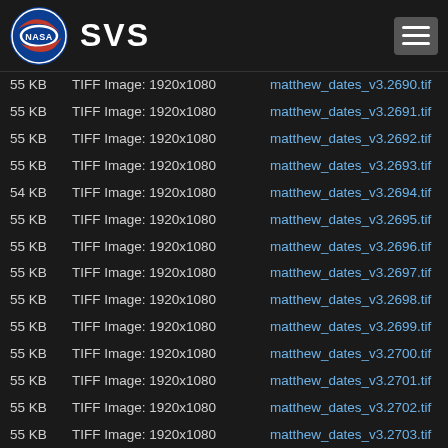NASA SVS
| Size | Type | Filename |
| --- | --- | --- |
| 55 KB | TIFF Image: 1920x1080 | matthew_dates_v3.2690.tif |
| 55 KB | TIFF Image: 1920x1080 | matthew_dates_v3.2691.tif |
| 55 KB | TIFF Image: 1920x1080 | matthew_dates_v3.2692.tif |
| 55 KB | TIFF Image: 1920x1080 | matthew_dates_v3.2693.tif |
| 54 KB | TIFF Image: 1920x1080 | matthew_dates_v3.2694.tif |
| 55 KB | TIFF Image: 1920x1080 | matthew_dates_v3.2695.tif |
| 55 KB | TIFF Image: 1920x1080 | matthew_dates_v3.2696.tif |
| 55 KB | TIFF Image: 1920x1080 | matthew_dates_v3.2697.tif |
| 55 KB | TIFF Image: 1920x1080 | matthew_dates_v3.2698.tif |
| 55 KB | TIFF Image: 1920x1080 | matthew_dates_v3.2699.tif |
| 55 KB | TIFF Image: 1920x1080 | matthew_dates_v3.2700.tif |
| 55 KB | TIFF Image: 1920x1080 | matthew_dates_v3.2701.tif |
| 55 KB | TIFF Image: 1920x1080 | matthew_dates_v3.2702.tif |
| 55 KB | TIFF Image: 1920x1080 | matthew_dates_v3.2703.tif |
| 55 KB | TIFF Image: 1920x1080 | matthew_dates_v3.2704.tif |
| 55 KB | TIFF Image: 1920x1080 | matthew_dates_v3.2705.tif |
| 55 KB | TIFF Image: 1920x1080 | matthew_dates_v3.2706.tif |
| 55 KB | TIFF Image: 1920x1080 | matthew_dates_v3.2707.tif |
| 54 KB | TIFF Image: 1920x1080 | matthew_dates_v3.2708.tif |
| 55 KB | TIFF Image: 1920x1080 | matthew_dates_v3.2709.tif |